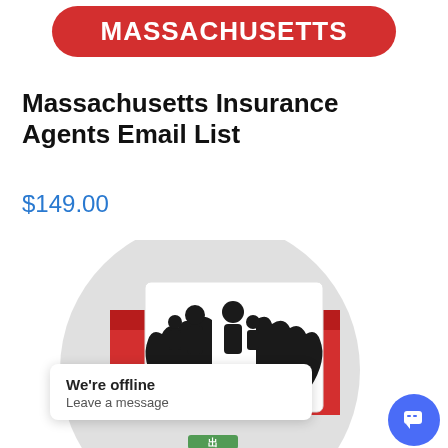[Figure (logo): Red pill-shaped badge with white bold uppercase text MASSACHUSETTS]
Massachusetts Insurance Agents Email List
$149.00
[Figure (illustration): Large circular grey background with a red email envelope open, containing a white card with black silhouette of two hands cradling a family (adults and children). Bottom shows partial green exit/insurance icon. Overlaid with offline chat popup and scroll-up button.]